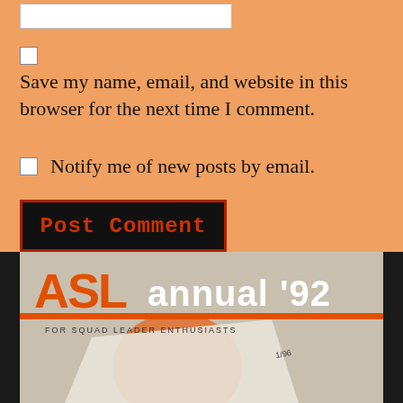Save my name, email, and website in this browser for the next time I comment.
Notify me of new posts by email.
Post Comment
[Figure (photo): Magazine cover of ASL Annual '92 for Squad Leader Enthusiasts, showing orange and white graphic design with circular shape and paper elements]